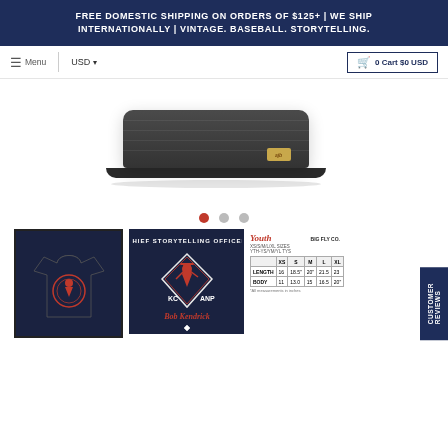FREE DOMESTIC SHIPPING ON ORDERS OF $125+ | WE SHIP INTERNATIONALLY | VINTAGE. BASEBALL. STORYTELLING.
≡ Menu   USD ▾   🛒 0 Cart $0 USD
[Figure (photo): Dark navy/charcoal beanie hat product image with gold logo label, shown from above on white background with carousel dots below]
[Figure (photo): Thumbnail: Dark navy t-shirt with circular baseball graphic design]
[Figure (photo): Thumbnail: Dark navy t-shirt showing close-up of 'Chief Storytelling Officer – Bob Kendrick' baseball graphic with player in diamond design]
[Figure (table-as-image): Youth size chart table for Big Fly Co. showing XS/S/M/L/XL sizes with length and body measurements]
Customer Reviews